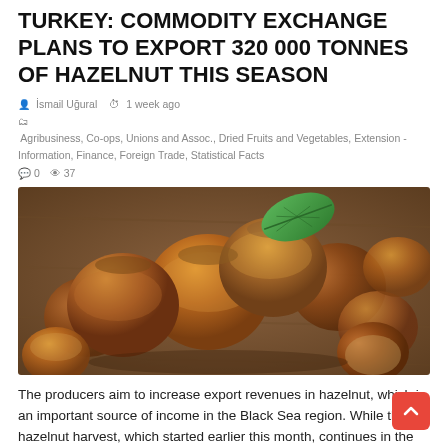TURKEY: COMMODITY EXCHANGE PLANS TO EXPORT 320 000 TONNES OF HAZELNUT THIS SEASON
İsmail Uğural   1 week ago   Agribusiness, Co-ops, Unions and Assoc., Dried Fruits and Vegetables, Extension - Information, Finance, Foreign Trade, Statistical Facts   0   37
[Figure (photo): Close-up photo of hazelnuts piled on a wooden surface, with a green leaf garnish, warm brown tones.]
The producers aim to increase export revenues in hazelnut, which is an important source of income in the Black Sea region. While the hazelnut harvest, which started earlier this month, continues in the coastal and central areas, exporters are making their final preparations for the new season. The Black Sea Hazelnut...